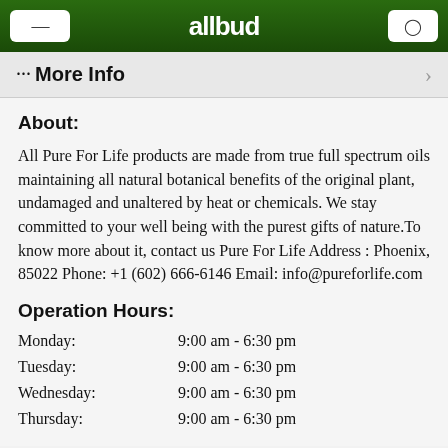[Figure (screenshot): Mobile app header bar with dark green background, hamburger menu button on left, logo 'allbud' with leaf icon in center, search/camera button on right]
··· More Info
About:
All Pure For Life products are made from true full spectrum oils maintaining all natural botanical benefits of the original plant, undamaged and unaltered by heat or chemicals. We stay committed to your well being with the purest gifts of nature.To know more about it, contact us Pure For Life Address : Phoenix, 85022 Phone: +1 (602) 666-6146 Email: info@pureforlife.com
Operation Hours:
Monday:    9:00 am - 6:30 pm
Tuesday:    9:00 am - 6:30 pm
Wednesday:    9:00 am - 6:30 pm
Thursday:    9:00 am - 6:30 pm